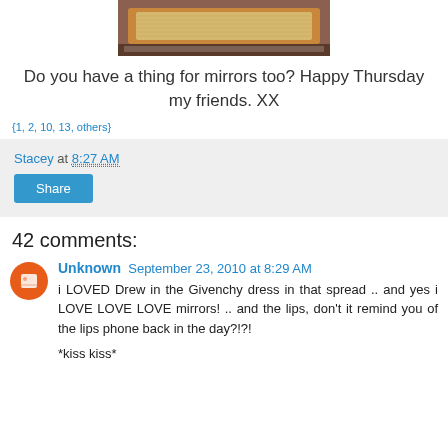[Figure (photo): Photo of a decorative pillow or cushion on a red/orange surface, cropped at top of page]
Do you have a thing for mirrors too? Happy Thursday my friends. XX
{1, 2, 10, 13, others}
Stacey at 8:27 AM
Share
42 comments:
Unknown September 23, 2010 at 8:29 AM
i LOVED Drew in the Givenchy dress in that spread .. and yes i LOVE LOVE LOVE mirrors! .. and the lips, don't it remind you of the lips phone back in the day?!?!
*kiss kiss*